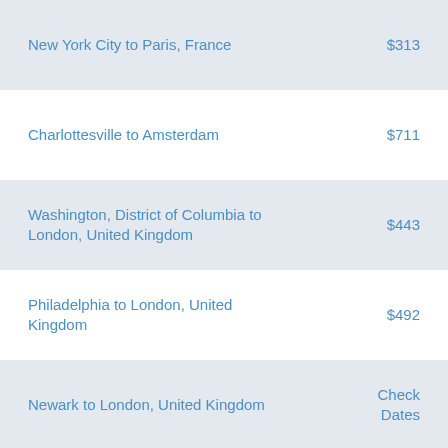New York City to Paris, France — $313
Charlottesville to Amsterdam — $711
Washington, District of Columbia to London, United Kingdom — $443
Philadelphia to London, United Kingdom — $492
Newark to London, United Kingdom — Check Dates
Washington, District of Columbia to Paris, France — $438
New York City to Frankfurt — $455